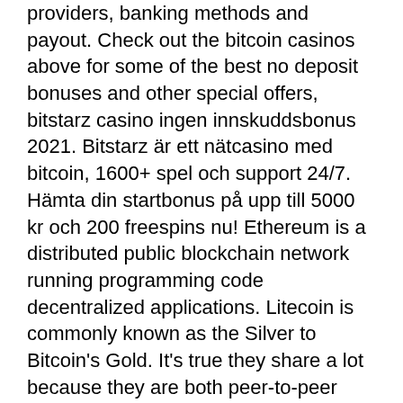providers, banking methods and payout. Check out the bitcoin casinos above for some of the best no deposit bonuses and other special offers, bitstarz casino ingen innskuddsbonus 2021. Bitstarz är ett nätcasino med bitcoin, 1600+ spel och support 24/7. Hämta din startbonus på upp till 5000 kr och 200 freespins nu! Ethereum is a distributed public blockchain network running programming code decentralized applications. Litecoin is commonly known as the Silver to Bitcoin's Gold. It's true they share a lot because they are both peer-to-peer currency. Their differences exist in the fact that its total distribution is four times that of bitcoin, 84 million and 21,000,000 respectively, bitstarz casino bonus.
Last week winners:
Fruit Shop - 644.7 eth
Admiral Nelson - 704.7 eth